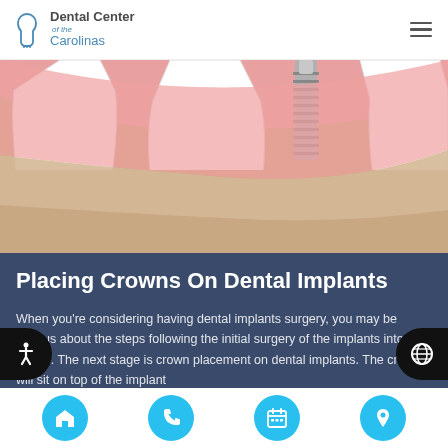Dental Center of the Carolinas
[Figure (illustration): Medical illustration of dental implants showing teeth cross-section with pink gum tissue, bone, and a metal screw implant with white teeth]
Placing Crowns On Dental Implants
When you're considering having dental implants surgery, you may be curious about the steps following the initial surgery of the implants into your mouth. The next stage is crown placement on dental implants. The crown will sit on top of the implant